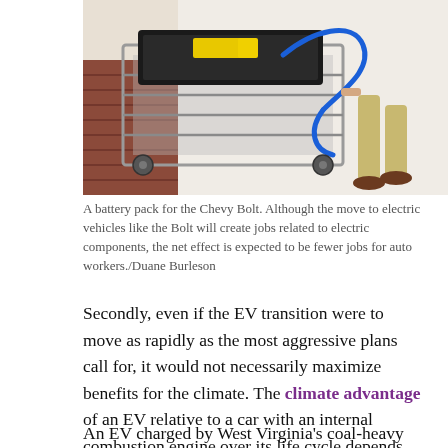[Figure (photo): A battery pack on a wheeled cart being pushed by a person in tan pants and brown shoes, in an industrial facility setting.]
A battery pack for the Chevy Bolt. Although the move to electric vehicles like the Bolt will create jobs related to electric components, the net effect is expected to be fewer jobs for auto workers./Duane Burleson
Secondly, even if the EV transition were to move as rapidly as the most aggressive plans call for, it would not necessarily maximize benefits for the climate. The climate advantage of an EV relative to a car with an internal combustion engine over its life cycle depends not only on the fuels used to generate the electricity it runs on, but also on emissions created during manufacturing.
An EV charged by West Virginia's coal-heavy